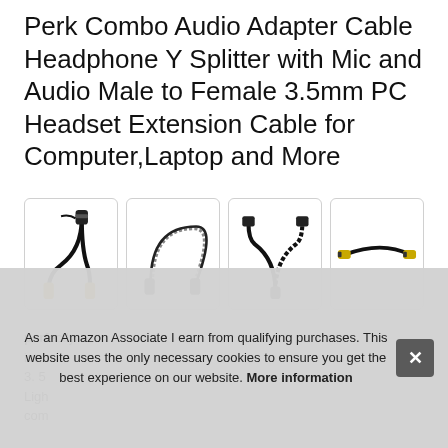Perk Combo Audio Adapter Cable Headphone Y Splitter with Mic and Audio Male to Female 3.5mm PC Headset Extension Cable for Computer,Laptop and More
[Figure (photo): Four product images showing audio cable/splitter connectors in bordered thumbnail boxes]
perf into 3.5 Ligh com
As an Amazon Associate I earn from qualifying purchases. This website uses the only necessary cookies to ensure you get the best experience on our website. More information